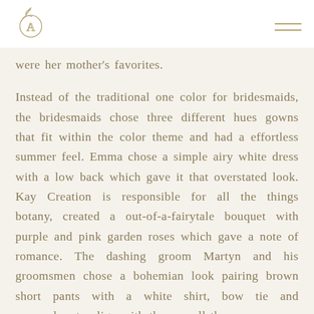[Logo: stylized leaf/citrus icon] [Hamburger menu icon]
were her mother's favorites.
Instead of the traditional one color for bridesmaids, the bridesmaids chose three different hues gowns that fit within the color theme and had a effortless summer feel. Emma chose a simple airy white dress with a low back which gave it that overstated look. Kay Creation is responsible for all the things botany, created a out-of-a-fairytale bouquet with purple and pink garden roses which gave a note of romance. The dashing groom Martyn and his groomsmen chose a bohemian look pairing brown short pants with a white shirt, bow tie and suspenders to align with the overall theme